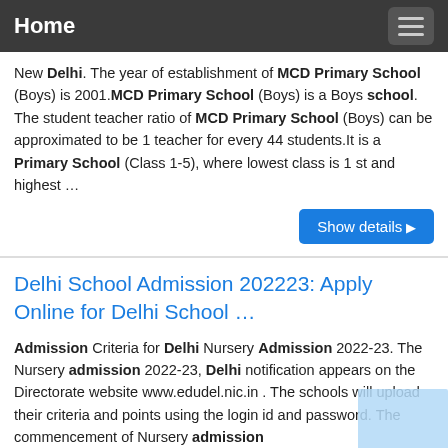Home
New Delhi. The year of establishment of MCD Primary School (Boys) is 2001. MCD Primary School (Boys) is a Boys school. The student teacher ratio of MCD Primary School (Boys) can be approximated to be 1 teacher for every 44 students. It is a Primary School (Class 1-5), where lowest class is 1 st and highest …
Delhi School Admission 202223: Apply Online for Delhi School …
Admission Criteria for Delhi Nursery Admission 2022-23. The Nursery admission 2022-23, Delhi notification appears on the Directorate website www.edudel.nic.in . The schools will upload their criteria and points using the login id and password. The commencement of Nursery admission